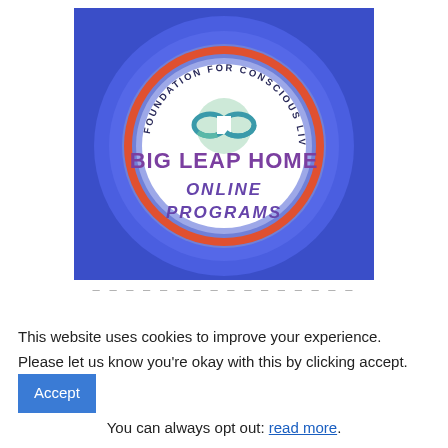[Figure (logo): Big Leap Home Online Programs logo — circular badge with blue/purple gradient background, concentric circles, red accent ring, white center circle. Text arcing around top: 'FOUNDATION FOR CONSCIOUS LIVING'. Center: teal infinity/figure-8 symbol over mint circle. Below: 'BIG LEAP HOME' in bold purple, then italic purple 'ONLINE PROGRAMS'.]
– – – – – – – – – – – – – – – –
This website uses cookies to improve your experience. Please let us know you're okay with this by clicking accept. You can always opt out: read more.